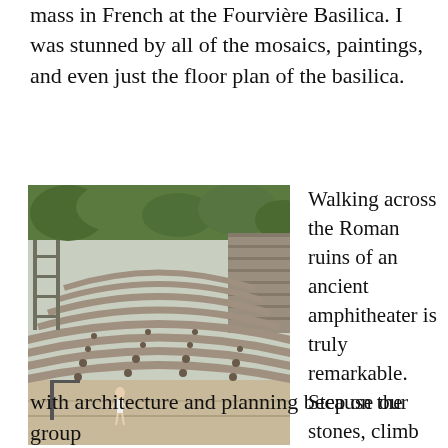mass in French at the Fourvière Basilica. I was stunned by all of the mosaics, paintings, and even just the floor plan of the basilica.
[Figure (photo): Outdoor photo of the Roman amphitheater ruins in Lyon, France (likely the Odeon of Lyon), showing curved stone seating tiers and a figure standing near the stage area, with trees and a wall visible in the background.]
Walking across the Roman ruins of an ancient amphitheater is truly remarkable. Step on the stones, climb on to center stage, hike up to the very back, and imagine the grand Roman productions that took place there. Those Romans knew what they were doing with architecture and planning because our group